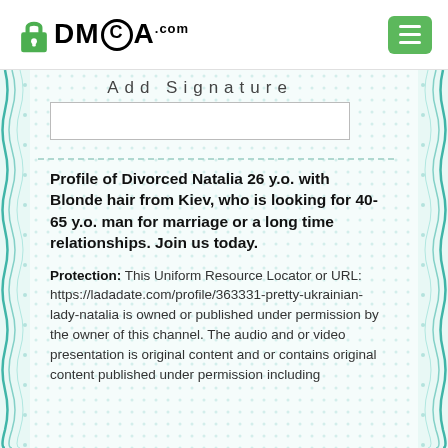DMCA.com
Add Signature
Profile of Divorced Natalia 26 y.o. with Blonde hair from Kiev, who is looking for 40-65 y.o. man for marriage or a long time relationships. Join us today.
Protection: This Uniform Resource Locator or URL: https://ladadate.com/profile/363331-pretty-ukrainian-lady-natalia is owned or published under permission by the owner of this channel. The audio and or video presentation is original content and or contains original content published under permission including